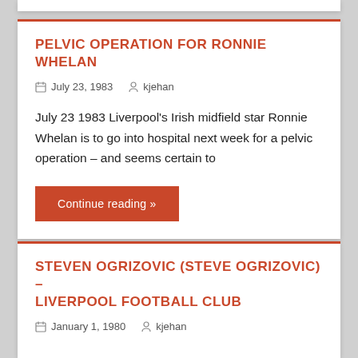PELVIC OPERATION FOR RONNIE WHELAN
July 23, 1983   kjehan
July 23 1983 Liverpool’s Irish midfield star Ronnie Whelan is to go into hospital next week for a pelvic operation – and seems certain to
Continue reading »
STEVEN OGRIZOVIC (STEVE OGRIZOVIC) – LIVERPOOL FOOTBALL CLUB
January 1, 1980   kjehan